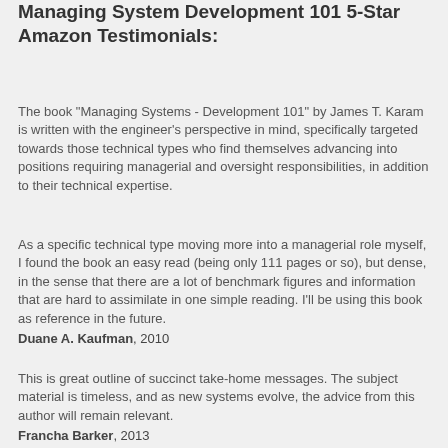Managing System Development 101 5-Star Amazon Testimonials:
The book "Managing Systems - Development 101" by James T. Karam is written with the engineer's perspective in mind, specifically targeted towards those technical types who find themselves advancing into positions requiring managerial and oversight responsibilities, in addition to their technical expertise.
As a specific technical type moving more into a managerial role myself, I found the book an easy read (being only 111 pages or so), but dense, in the sense that there are a lot of benchmark figures and information that are hard to assimilate in one simple reading. I'll be using this book as reference in the future.
Duane A. Kaufman, 2010
This is great outline of succinct take-home messages. The subject material is timeless, and as new systems evolve, the advice from this author will remain relevant.
Francha Barker, 2013